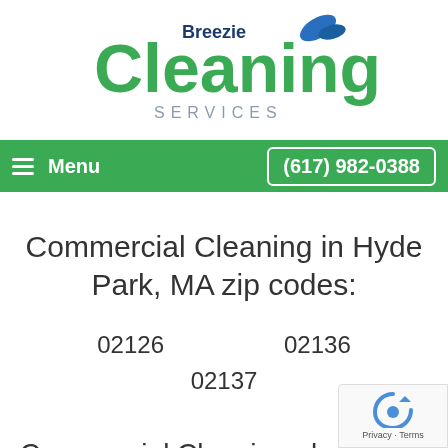[Figure (logo): Breezie Cleaning Services logo with green stylized C and blue leaf icon]
Menu  (617) 982-0388
Commercial Cleaning in Hyde Park, MA zip codes:
02126
02136
02137
Commercial Cleaning also available